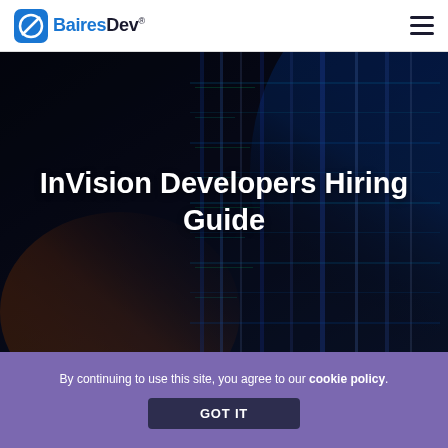[Figure (logo): BairesDev logo with icon and wordmark in the top-left header]
[Figure (screenshot): Navigation hamburger menu icon (three horizontal lines) in the top-right header]
[Figure (photo): Dark hero image of illuminated server racks/data center with blue and orange lighting]
InVision Developers Hiring Guide
By continuing to use this site, you agree to our cookie policy.
GOT IT